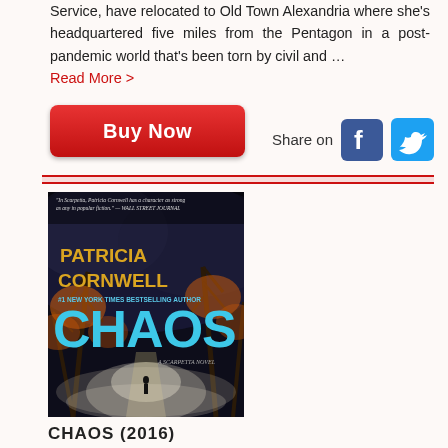Service, have relocated to Old Town Alexandria where she's headquartered five miles from the Pentagon in a post-pandemic world that's been torn by civil and … Read More >
Buy Now
Share on
[Figure (other): Book cover for CHAOS (2016) by Patricia Cornwell, #1 New York Times Bestselling Author. Dark atmospheric cover with trees and foggy path.]
CHAOS (2016)